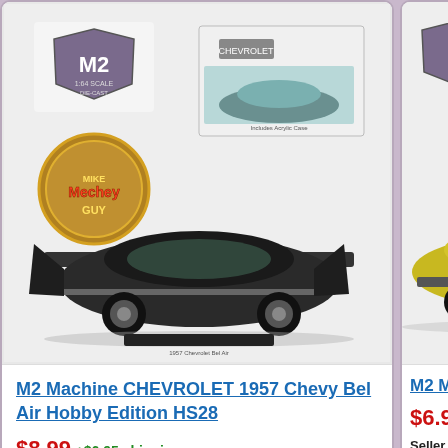[Figure (photo): M2 Machine 1957 Chevrolet Bel Air die-cast model car product photo with M2 logo, Mechey Guy logo, and packaging showing acrylic case]
M2 Machine CHEVROLET 1957 Chevy Bel Air Hobby Edition HS28
$8.99 +$6.95 shipping
Seller accepts PayPal
100% great feedback other items by mikecola99(29176)
Will Ship: 🌐
[Figure (photo): M2 Machine Foose Design Chevy Bel Air die-cast model partial view]
M2 Ma... Desig... Air
$6.99
Seller a... PayPal... 100% g... other i... mikeco...
Will Sh...